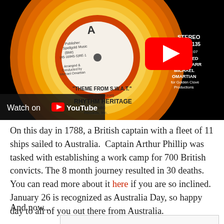[Figure (screenshot): YouTube video thumbnail showing a vinyl record label for 'Theme From S.W.A.T.' by Rhythm Heritage on ABC Records (1975), with a YouTube play button overlay and 'Watch on YouTube' bar at the bottom left.]
On this day in 1788, a British captain with a fleet of 11 ships sailed to Australia.  Captain Arthur Phillip was tasked with establishing a work camp for 700 British convicts. The 8 month journey resulted in 30 deaths. You can read more about it here if you are so inclined.  January 26 is recognized as Australia Day, so happy day to all of you out there from Australia.
And now...